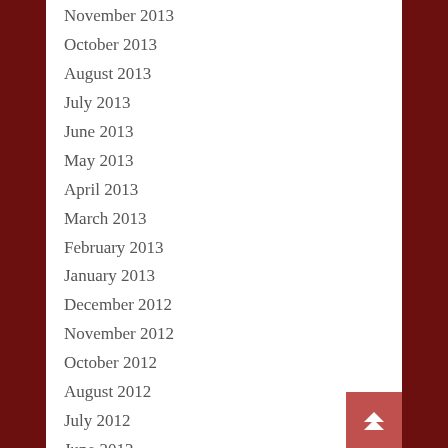November 2013
October 2013
August 2013
July 2013
June 2013
May 2013
April 2013
March 2013
February 2013
January 2013
December 2012
November 2012
October 2012
August 2012
July 2012
June 2012
May 2012
April 2012
March 2012